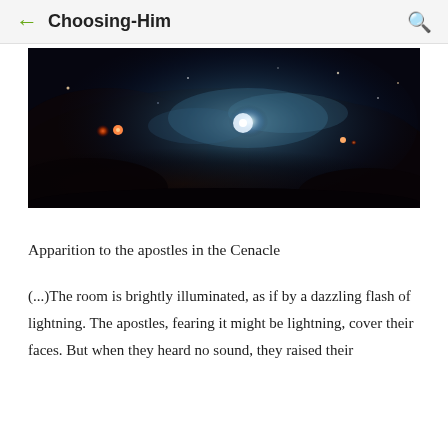← Choosing-Him 🔍
[Figure (photo): Astronomical nebula image showing a bright central star or celestial object with surrounding gas and dust clouds in blue, red, and dark tones against a dark space background.]
Apparition to the apostles in the Cenacle
(...)The room is brightly illuminated, as if by a dazzling flash of lightning. The apostles, fearing it might be lightning, cover their faces. But when they heard no sound, they raised their